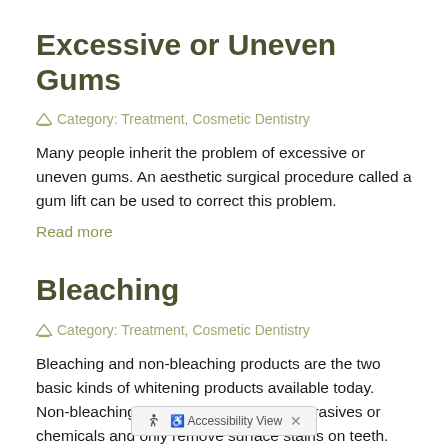Excessive or Uneven Gums
Category: Treatment, Cosmetic Dentistry
Many people inherit the problem of excessive or uneven gums. An aesthetic surgical procedure called a gum lift can be used to correct this problem.
Read more
Bleaching
Category: Treatment, Cosmetic Dentistry
Bleaching and non-bleaching products are the two basic kinds of whitening products available today. Non-bleaching products normally use abrasives or chemicals and only remove surface stains on teeth. Bleaching products work at bleaching...